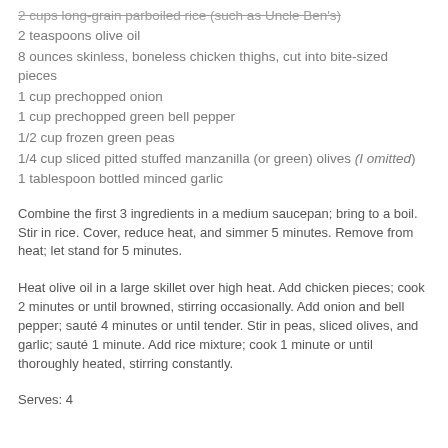2 cups long-grain parboiled rice (such as Uncle Ben's)
2 teaspoons olive oil
8 ounces skinless, boneless chicken thighs, cut into bite-sized pieces
1 cup prechopped onion
1 cup prechopped green bell pepper
1/2 cup frozen green peas
1/4 cup sliced pitted stuffed manzanilla (or green) olives (I omitted)
1 tablespoon bottled minced garlic
Combine the first 3 ingredients in a medium saucepan; bring to a boil. Stir in rice. Cover, reduce heat, and simmer 5 minutes. Remove from heat; let stand for 5 minutes.
Heat olive oil in a large skillet over high heat. Add chicken pieces; cook 2 minutes or until browned, stirring occasionally. Add onion and bell pepper; sauté 4 minutes or until tender. Stir in peas, sliced olives, and garlic; sauté 1 minute. Add rice mixture; cook 1 minute or until thoroughly heated, stirring constantly.
Serves: 4